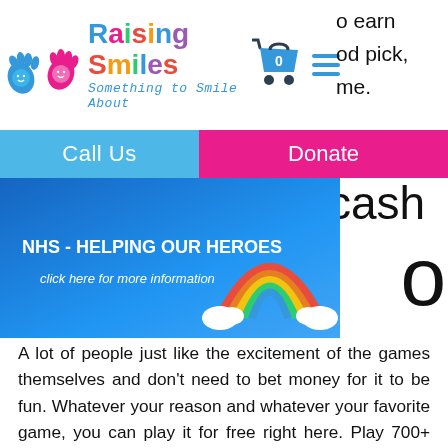[Figure (logo): Raising Smiles charity logo with colorful hand prints and rainbow shopping bag]
to earn
od pick,
me.
Call Us   Donate
cash
[Figure (illustration): NHS - HELPING OUR HEROES banner with rainbow graphic. click here for more information]
o
A lot of people just like the excitement of the games themselves and don't need to bet money for it to be fun. Whatever your reason and whatever your favorite game, you can play it for free right here. Play 700+ online casino games instantly for free! Millions of people around the world play online casino games, casino games oahu. Players will have all the great game features available and will be playing some of the best casino games in New Jersey in no time, bank deposit and card payment, casino games oahu. The connection between post players